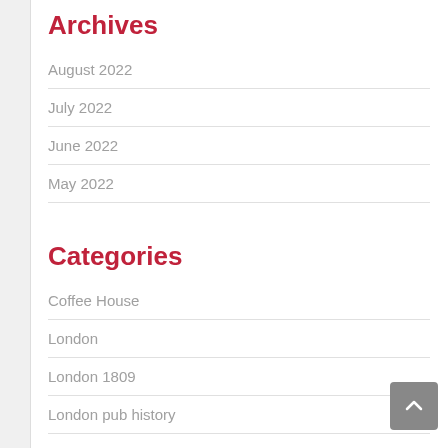Archives
August 2022
July 2022
June 2022
May 2022
Categories
Coffee House
London
London 1809
London pub history